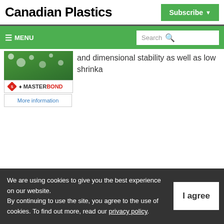Canadian Plastics
Subscribe
MENU | Search
[Figure (logo): Master Bond advertisement with logo showing a red diamond and MASTERBOND text]
and dimensional stability as well as low shrinka...
More information
We are using cookies to give you the best experience on our website. By continuing to use the site, you agree to the use of cookies. To find out more, read our privacy policy.
I agree